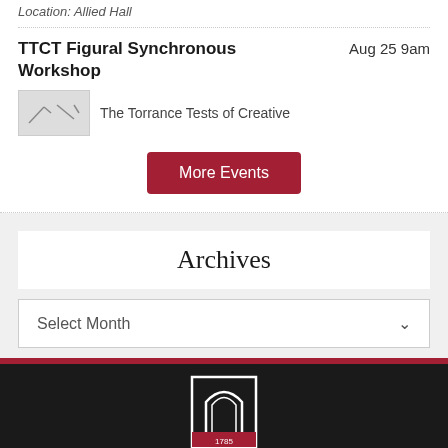Location: Allied Hall
TTCT Figural Synchronous Workshop
Aug 25 9am
The Torrance Tests of Creative
More Events
Archives
Select Month
[Figure (logo): University arch logo in white on dark background, with year 1785]